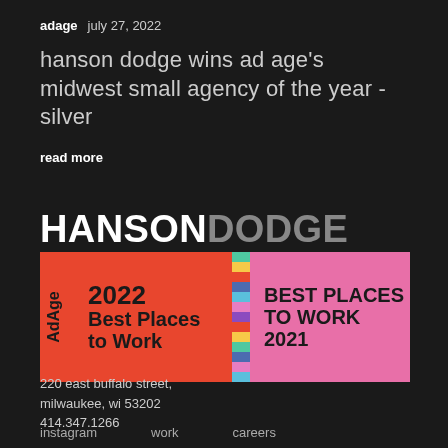adage  july 27, 2022
hanson dodge wins ad age's midwest small agency of the year - silver
read more
[Figure (logo): Hanson Dodge logo with two Ad Age Best Places to Work badges: 2022 Best Places to Work (orange background) and Best Places to Work 2021 (pink background), with a vertical multicolor stripe divider and AdAge text rotated vertically on the left.]
220 east buffalo street,
milwaukee, wi 53202
414.347.1266
instagram    work    careers